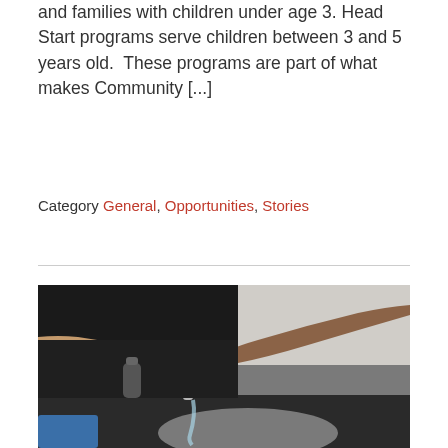and families with children under age 3. Head Start programs serve children between 3 and 5 years old. These programs are part of what makes Community [...]
Category General, Opportunities, Stories
[Figure (photo): A person washing their hands under a running faucet at a kitchen or utility sink with a dark countertop. The person is wearing a dark blue shirt. A blue towel or cloth is visible in the lower left corner.]